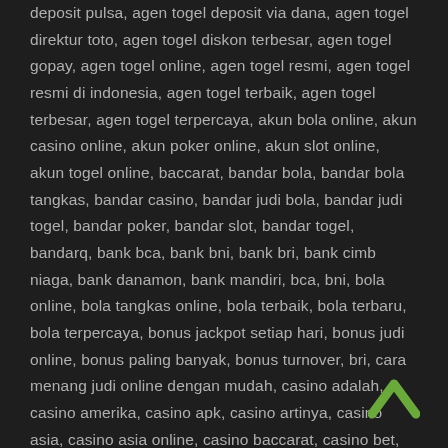deposit pulsa, agen togel deposit via dana, agen togel direktur toto, agen togel diskon terbesar, agen togel gopay, agen togel online, agen togel resmi, agen togel resmi di indonesia, agen togel terbaik, agen togel terbesar, agen togel terpercaya, akun bola online, akun casino online, akun poker online, akun slot online, akun togel online, baccarat, bandar bola, bandar bola tangkas, bandar casino, bandar judi bola, bandar judi togel, bandar poker, bandar slot, bandar togel, bandarq, bank bca, bank bni, bank bri, bank cimb niaga, bank danamon, bank mandiri, bca, bni, bola online, bola tangkas online, bola terbaik, bola terbaru, bola terpercaya, bonus jackpot setiap hari, bonus judi online, bonus paling banyak, bonus turnover, bri, cara menang judi online dengan mudah, casino adalah, casino amerika, casino apk, casino artinya, casino asia, casino asia online, casino baccarat, casino bet, casino deposit pulsa, casino di indonesia, casino di jakarta, casino di macau, casino di malaysia, casino di singapore, casino dingdong, casino euro, casino evo, casino evolution, casino evolution gaming, casino online, casino terbaik, casino terbaru, casino terpercaya, cimb, daftar bola, daftar casino,
[Figure (illustration): Green chevron/up-arrow icon in bottom-right corner]